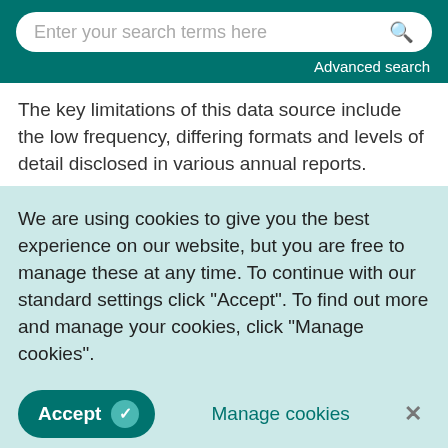Enter your search terms here  Advanced search
The key limitations of this data source include the low frequency, differing formats and levels of detail disclosed in various annual reports.
We are using cookies to give you the best experience on our website, but you are free to manage these at any time. To continue with our standard settings click "Accept". To find out more and manage your cookies, click "Manage cookies".
used to guide policymakers and providers in their future decision-making around the scheme and